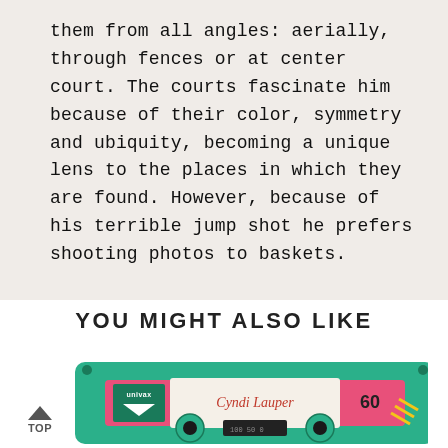them from all angles: aerially, through fences or at center court. The courts fascinate him because of their color, symmetry and ubiquity, becoming a unique lens to the places in which they are found. However, because of his terrible jump shot he prefers shooting photos to baskets.
YOU MIGHT ALSO LIKE
[Figure (photo): A retro green and pink cassette tape labeled 'Cyndi Lauper 60' with Univox branding.]